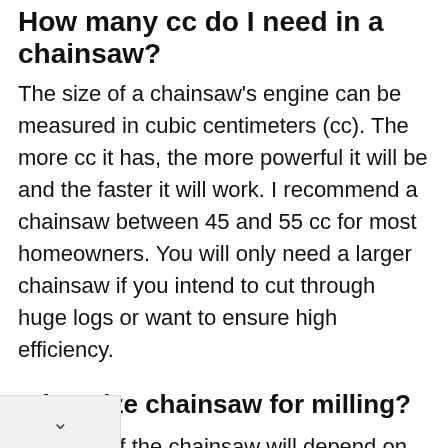How many cc do I need in a chainsaw?
The size of a chainsaw's engine can be measured in cubic centimeters (cc). The more cc it has, the more powerful it will be and the faster it will work. I recommend a chainsaw between 45 and 55 cc for most homeowners. You will only need a larger chainsaw if you intend to cut through huge logs or want to ensure high efficiency.
What size chainsaw for milling?
The size of the chainsaw will depend on the ng you will be doing. If you need to cut